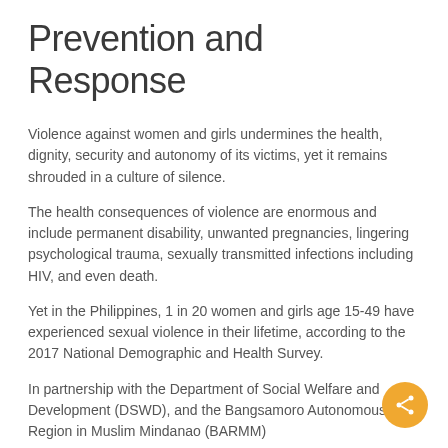Prevention and Response
Violence against women and girls undermines the health, dignity, security and autonomy of its victims, yet it remains shrouded in a culture of silence.
The health consequences of violence are enormous and include permanent disability, unwanted pregnancies, lingering psychological trauma, sexually transmitted infections including HIV, and even death.
Yet in the Philippines, 1 in 20 women and girls age 15-49 have experienced sexual violence in their lifetime, according to the 2017 National Demographic and Health Survey.
In partnership with the Department of Social Welfare and Development (DSWD), and the Bangsamoro Autonomous Region in Muslim Mindanao (BARMM)